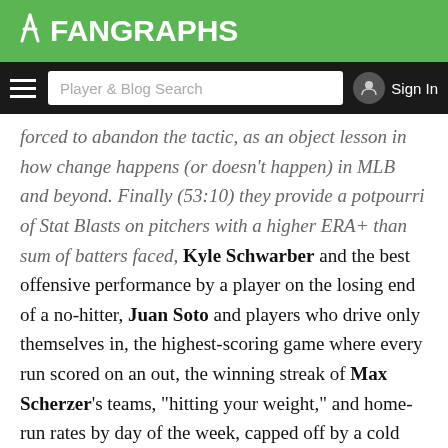FANGRAPHS
forced to abandon the tactic, as an object lesson in how change happens (or doesn't happen) in MLB and beyond. Finally (53:10) they provide a potpourri of Stat Blasts on pitchers with a higher ERA+ than sum of batters faced, Kyle Schwarber and the best offensive performance by a player on the losing end of a no-hitter, Juan Soto and players who drive only themselves in, the highest-scoring game where every run scored on an out, the winning streak of Max Scherzer's teams, "hitting your weight," and home-run rates by day of the week, capped off by a cold call (1:11:10) to 95-year-old former major leaguer (and Stat Blast subject) Charlie Maxwell, who discusses learning from,